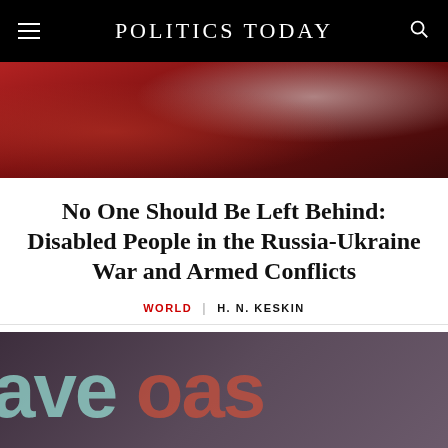POLITICS TODAY
[Figure (photo): Close-up photo of a person in a red jacket holding something, with a tattooed hand visible]
No One Should Be Left Behind: Disabled People in the Russia-Ukraine War and Armed Conflicts
WORLD | H. N. KESKIN
[Figure (photo): Dark background image with large teal and red text partially visible reading 'ave oas']